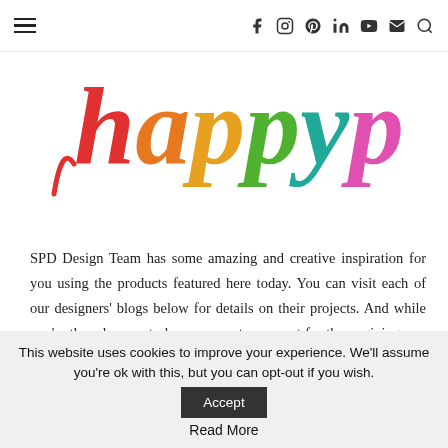Navigation bar with hamburger menu and social icons: f, instagram, pinterest, linkedin, youtube, email, search
[Figure (illustration): Colorful rainbow-lettered cursive logo text partially visible at top of page, in red, orange, green, teal, and pink colors]
SPD Design Team has some amazing and creative inspiration for you using the products featured here today. You can visit each of our designers' blogs below for details on their projects. And while you're there be sure to leave a sweet comment for them, giving you an extra entry to win!
Amy Kolling
Francesca Vignoli
This website uses cookies to improve your experience. We'll assume you're ok with this, but you can opt-out if you wish.
Accept
Read More